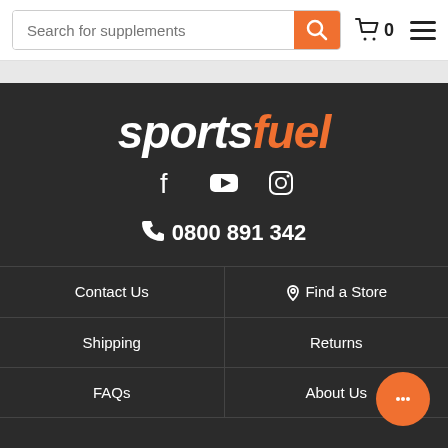Search for supplements
[Figure (logo): Sportsfuel logo with 'sports' in white italic bold and 'fuel' in orange italic bold]
[Figure (infographic): Social media icons: Facebook, YouTube, Instagram in white on dark background]
0800 891 342
Contact Us
Find a Store
Shipping
Returns
FAQs
About Us